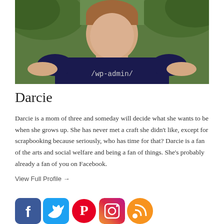[Figure (photo): Profile photo of Darcie, a woman wearing a dark navy t-shirt with '/wp-admin/' printed on it, photographed outdoors with green foliage in background, cropped to show head and upper torso]
Darcie
Darcie is a mom of three and someday will decide what she wants to be when she grows up. She has never met a craft she didn't like, except for scrapbooking because seriously, who has time for that? Darcie is a fan of the arts and social welfare and being a fan of things. She's probably already a fan of you on Facebook.
View Full Profile →
[Figure (logo): Row of social media icons: Facebook (blue), Twitter (light blue), Pinterest (red circular logo), Instagram (colorful camera icon), RSS feed (orange)]